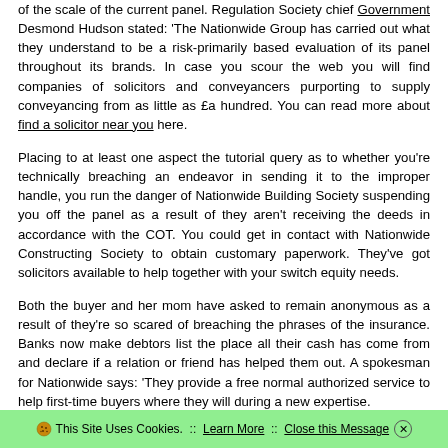of the scale of the current panel. Regulation Society chief Government Desmond Hudson stated: 'The Nationwide Group has carried out what they understand to be a risk-primarily based evaluation of its panel throughout its brands. In case you scour the web you will find companies of solicitors and conveyancers purporting to supply conveyancing from as little as £a hundred. You can read more about find a solicitor near you here.
Placing to at least one aspect the tutorial query as to whether you're technically breaching an endeavor in sending it to the improper handle, you run the danger of Nationwide Building Society suspending you off the panel as a result of they aren't receiving the deeds in accordance with the COT. You could get in contact with Nationwide Constructing Society to obtain customary paperwork. They've got solicitors available to help together with your switch equity needs.
Both the buyer and her mom have asked to remain anonymous as a result of they're so scared of breaching the phrases of the insurance. Banks now make debtors list the place all their cash has come from and declare if a relation or friend has helped them out. A spokesman for Nationwide says: 'They provide a free normal authorized service to help first-time buyers where they will during a new expertise.
🍪 This Site Uses Cookies.  ::  Learn More  ::  Close this Message ⊗